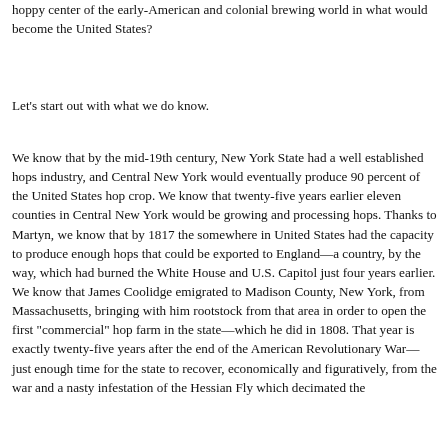hoppy center of the early-American and colonial brewing world in what would become the United States?
Let's start out with what we do know.
We know that by the mid-19th century, New York State had a well established hops industry, and Central New York would eventually produce 90 percent of the United States hop crop. We know that twenty-five years earlier eleven counties in Central New York would be growing and processing hops. Thanks to Martyn, we know that by 1817 the somewhere in United States had the capacity to produce enough hops that could be exported to England—a country, by the way, which had burned the White House and U.S. Capitol just four years earlier. We know that James Coolidge emigrated to Madison County, New York, from Massachusetts, bringing with him rootstock from that area in order to open the first "commercial" hop farm in the state—which he did in 1808. That year is exactly twenty-five years after the end of the American Revolutionary War—just enough time for the state to recover, economically and figuratively, from the war and a nasty infestation of the Hessian Fly which decimated the